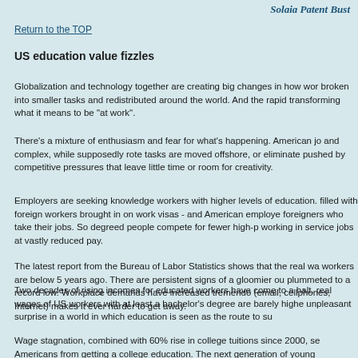Solaia Patent Bust
Return to the TOP
US education value fizzles
Globalization and technology together are creating big changes in how wor broken into smaller tasks and redistributed around the world. And the rapid transforming what it means to be "at work".
There's a mixture of enthusiasm and fear for what's happening. American jo and complex, while supposedly rote tasks are moved offshore, or eliminate pushed by competitive pressures that leave little time or room for creativity
Employers are seeking knowledge workers with higher levels of education. filled with foreign workers brought in on work visas - and American employe foreigners who take their jobs. So degreed people compete for fewer high-p working in service jobs at vastly reduced pay.
The latest report from the Bureau of Labor Statistics shows that the real wa workers are below 5 years ago. There are persistent signs of a gloomier ou plummeted to a record low. Workplace demands have increased tremendo (email, cellphones, Internet) makes it ever harder to get away.
Two decades of rising incomes for educated workers have come to a halt. real wages of US workers with at least a bachelor's degree are barely highe unpleasant surprise in a world in which education is seen as the route to su
Wage stagnation, combined with 60% rise in college tuitions since 2000, se Americans from getting a college education. The next generation of young educated, creating a growing gap between the kinds of people compan